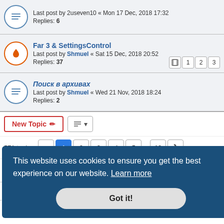Last post by 2useven10 « Mon 17 Dec, 2018 17:32
Replies: 6
Far 3 & SettingsControl
Last post by Shmuel « Sat 15 Dec, 2018 20:52
Replies: 37
Pages: 1 2 3
Поиск в архивах
Last post by Shmuel « Wed 21 Nov, 2018 18:24
Replies: 2
New Topic | Sort | 571 topics | 1 2 3 4 5 ... 12 >
Jump to
FORUM PERMISSIONS
This website uses cookies to ensure you get the best experience on our website. Learn more
Got it!
TC+01:00